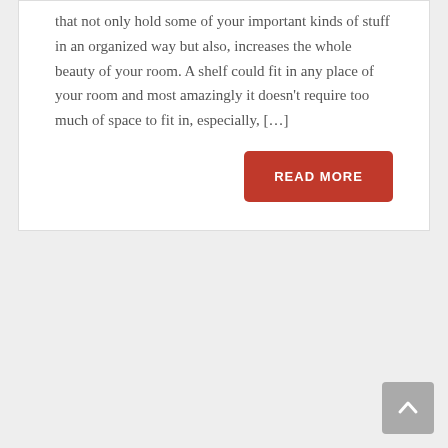that not only hold some of your important kinds of stuff in an organized way but also, increases the whole beauty of your room. A shelf could fit in any place of your room and most amazingly it doesn't require too much of space to fit in, especially, […]
READ MORE
[Figure (other): Scroll-to-top button, grey rounded square with upward chevron arrow]